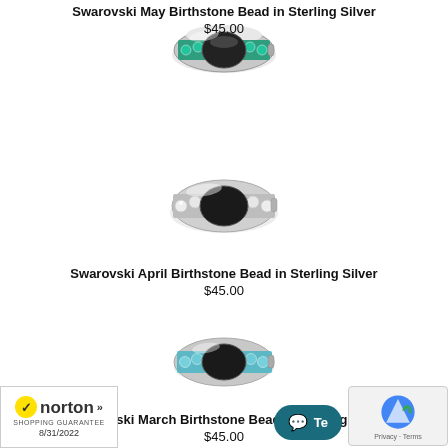[Figure (photo): Swarovski May Birthstone Bead in Sterling Silver - teal/green crystal ring bead]
Swarovski May Birthstone Bead in Sterling Silver
$45.00
[Figure (photo): Swarovski April Birthstone Bead in Sterling Silver - clear/white crystal ring bead]
Swarovski April Birthstone Bead in Sterling Silver
$45.00
[Figure (photo): Swarovski March Birthstone Bead in Sterling Silver - light blue/aquamarine crystal ring bead]
Swarovski March Birthstone Bead in Sterling Silver
$45.00
[Figure (logo): Norton Shopping Guarantee badge, 8/31/2022]